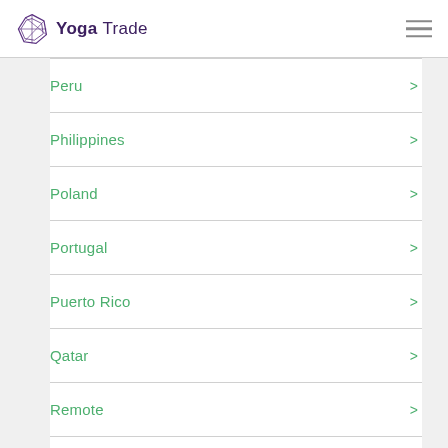Yoga Trade
Peru
Philippines
Poland
Portugal
Puerto Rico
Qatar
Remote
Romania